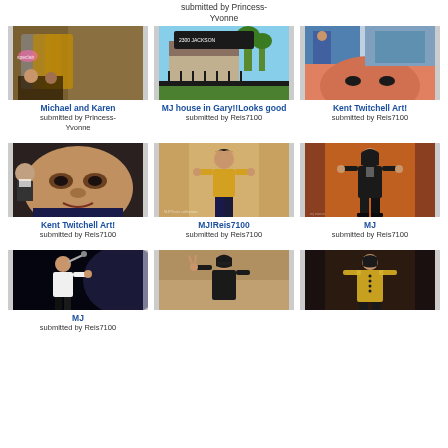submitted by Princess-Yvonne
[Figure (photo): Photo of jackets on display with people]
Michael and Karen
submitted by Princess-Yvonne
[Figure (photo): MJ house in Gary with street sign]
MJ house in Gary!!Looks good
submitted by Reis7100
[Figure (photo): Kent Twitchell Art of Michael Jackson]
Kent Twitchell Art!
submitted by Reis7100
[Figure (photo): Kent Twitchell Art close up painting]
Kent Twitchell Art!
submitted by Reis7100
[Figure (photo): Michael Jackson in yellow outfit photo]
MJ!Reis7100
submitted by Reis7100
[Figure (photo): MJ standing in black outfit]
MJ
submitted by Reis7100
[Figure (photo): MJ performing on stage in white shirt]
MJ
submitted by Reis7100
[Figure (photo): MJ making peace sign indoors]
[Figure (photo): MJ in military style outfit]